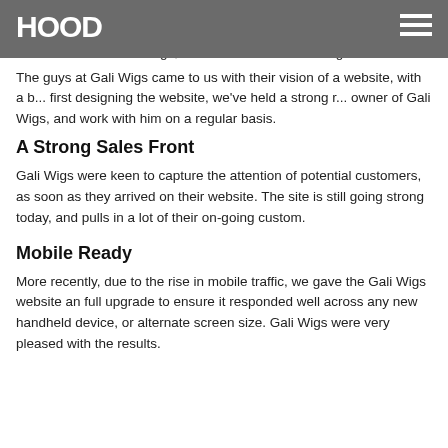HOOD
The guys at Gali Wigs came to us with their vision of a website, with a b... first designing the website, we've held a strong r... owner of Gali Wigs, and work with him on a regular basis.
A Strong Sales Front
Gali Wigs were keen to capture the attention of potential customers, as soon as they arrived on their website. The site is still going strong today, and pulls in a lot of their on-going custom.
Mobile Ready
More recently, due to the rise in mobile traffic, we gave the Gali Wigs website an full upgrade to ensure it responded well across any new handheld device, or alternate screen size. Gali Wigs were very pleased with the results.